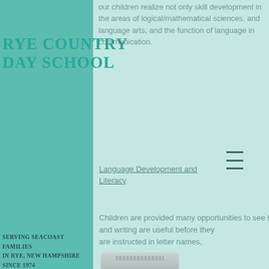Rye Country Day School
Serving Seacoast Families
In Rye, New Hampshire since 1974
our children realize not only skill development in the areas of logical/mathematical sciences, and language arts, and the function of language in communication.
Language Development and Literacy
Children are provided many opportunities to see how reading and writing are useful before they are instructed in letter names, sounds, and word identification. Basic skills develop when they are meaningful to children. An abundance of these activities is provided to develop language and literacy through meaningful experience: listening to and reading stories and poems, taking field trips, dictating stories, a print rich environment, talking informally with other children and adults, and experimenting with writing, with
[Figure (other): Hamburger menu icon with three horizontal lines]